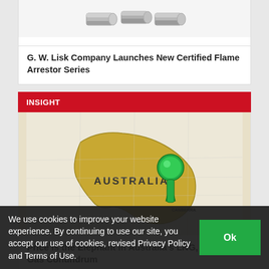[Figure (photo): Industrial pipe/flame arrestor components, greyscale photo on white background]
G. W. Lisk Company Launches New Certified Flame Arrestor Series
INSIGHT
[Figure (photo): Map of Australia with a green push pin placed on the continent, globe map background]
Price is the Elephant in Australia's LNG, Domestic Gas Conundrum
We use cookies to improve your website experience. By continuing to use our site, you accept our use of cookies, revised Privacy Policy and Terms of Use.